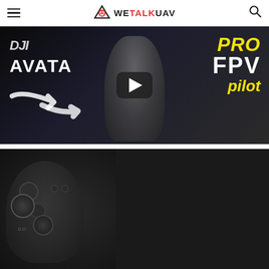WE TALK UAV
[Figure (screenshot): YouTube-style video thumbnail for DJI Avata featuring a man holding a drone, text reading 'DJI AVATA' on the left and 'PRO FPV pilot' in yellow and white on the right, with a play button in the center]
[Figure (screenshot): YouTube-style video thumbnail showing a DJI FPV drone unboxing scene with a controller, box, and accessories under red lighting, with a play button in the center]